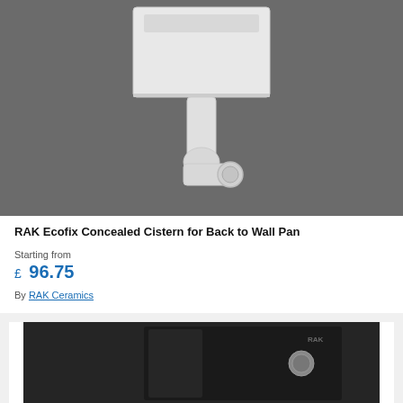[Figure (photo): White concealed cistern with pipe and outlet connector, photographed against dark grey background]
RAK Ecofix Concealed Cistern for Back to Wall Pan
Starting from
£ 96.75
By RAK Ceramics
[Figure (photo): Black glossy concealed cistern with circular flush button, photographed from front, partially visible]